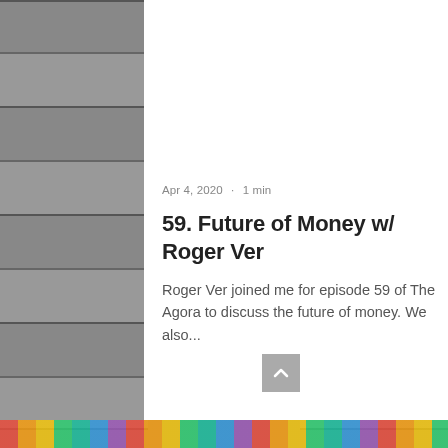[Figure (photo): Hero image showing a US $100 bill with Benjamin Franklin's face, with colorful pixel/mosaic squares floating above it on a light background]
Apr 4, 2020 · 1 min
59. Future of Money w/ Roger Ver
Roger Ver joined me for episode 59 of The Agora to discuss the future of money. We also...
[Figure (other): Scroll-to-top button with upward arrow chevron on grey background]
[Figure (other): Bottom decorative rainbow-colored bar]